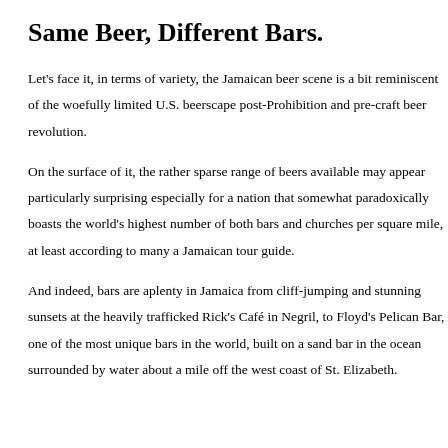Same Beer, Different Bars.
Let's face it, in terms of variety, the Jamaican beer scene is a bit reminiscent of the woefully limited U.S. beerscape post-Prohibition and pre-craft beer revolution.
On the surface of it, the rather sparse range of beers available may appear particularly surprising especially for a nation that somewhat paradoxically boasts the world's highest number of both bars and churches per square mile, at least according to many a Jamaican tour guide.
And indeed, bars are aplenty in Jamaica from cliff-jumping and stunning sunsets at the heavily trafficked Rick's Café in Negril, to Floyd's Pelican Bar, one of the most unique bars in the world, built on a sand bar in the ocean surrounded by water about a mile off the west coast of St. Elizabeth.